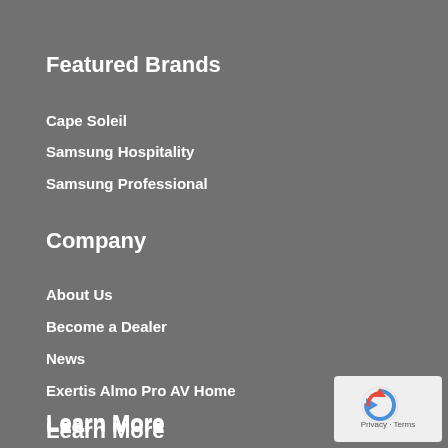Featured Brands
Cape Soleil
Samsung Hospitality
Samsung Professional
Company
About Us
Become a Dealer
News
Exertis Almo Pro AV Home
Learn More
Line Card
Resources
[Figure (logo): reCAPTCHA badge with Privacy and Terms links]